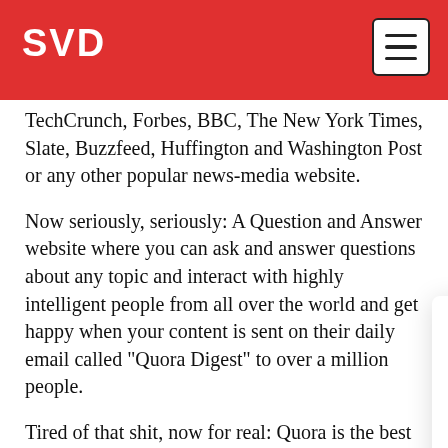SVD
TechCrunch, Forbes, BBC, The New York Times, Slate, Buzzfeed, Huffington and Washington Post or any other popular news-media website.
Now seriously, seriously: A Question and Answer website where you can ask and answer questions about any topic and interact with highly intelligent people from all over the world and get happy when your content is sent on their daily email called "Quora Digest" to over a million people.
Tired of that shit, now for real: Quora is the best place on the internet to find the best answer for your questions. (It'd certainly be if it had more user
Lisa: Hey, Jon, t
my answers on
Jon: Quora? Wh
Lisa: Quora is a
where you can ask and answer a lot of interesting
Subscribe to our definitions
@sv_dictionary